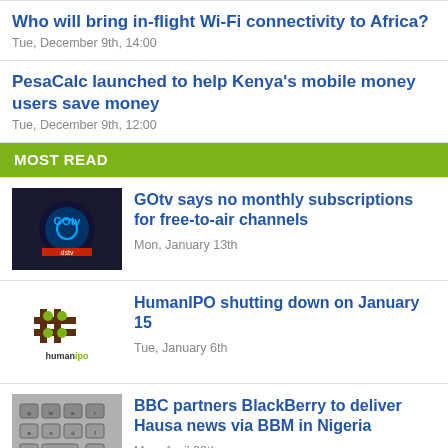Who will bring in-flight Wi-Fi connectivity to Africa?
Tue, December 9th, 14:00
PesaCalc launched to help Kenya's mobile money users save money
Tue, December 9th, 12:00
MOST READ
[Figure (photo): GOtv logo thumbnail]
GOtv says no monthly subscriptions for free-to-air channels
Mon, January 13th
[Figure (logo): HumanIPO logo thumbnail]
HumanIPO shutting down on January 15
Tue, January 6th
[Figure (photo): BlackBerry keyboard thumbnail]
BBC partners BlackBerry to deliver Hausa news via BBM in Nigeria
Mon, April 28th